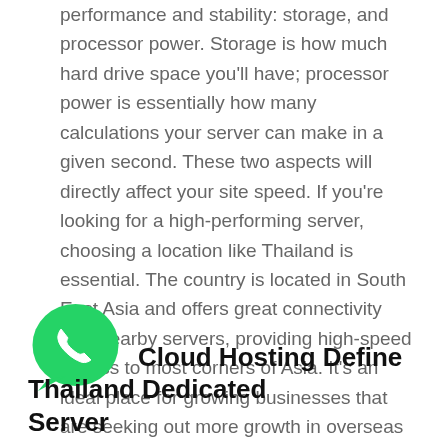performance and stability: storage, and processor power. Storage is how much hard drive space you'll have; processor power is essentially how many calculations your server can make in a given second. These two aspects will directly affect your site speed. If you're looking for a high-performing server, choosing a location like Thailand is essential. The country is located in South East Asia and offers great connectivity with nearby servers, providing high-speed access to most corners of Asia. It's an ideal place for growing businesses that are seeking out more growth in overseas markets. With so many advantages, it's no wonder that Thailand has become one of our most popular choices. Here are some of its features.
[Figure (logo): WhatsApp green logo icon]
Cloud Hosting Define Thailand Dedicated Server